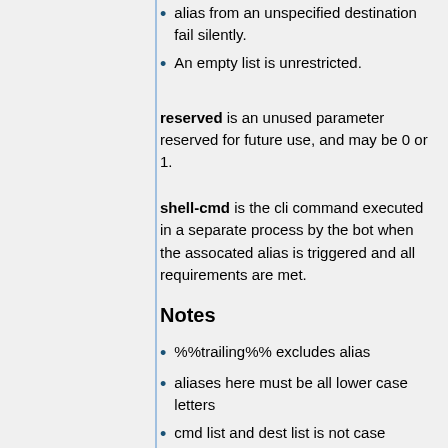alias from an unspecified destination fail silently.
An empty list is unrestricted.
reserved is an unused parameter reserved for future use, and may be 0 or 1.
shell-cmd is the cli command executed in a separate process by the bot when the assocated alias is triggered and all requirements are met.
Notes
%%trailing%% excludes alias
aliases here must be all lower case letters
cmd list and dest list is not case sensitive, but conventionally use